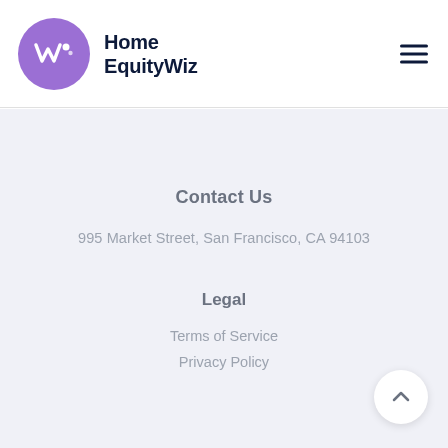Home EquityWiz
Contact Us
995 Market Street, San Francisco, CA 94103
Legal
Terms of Service
Privacy Policy